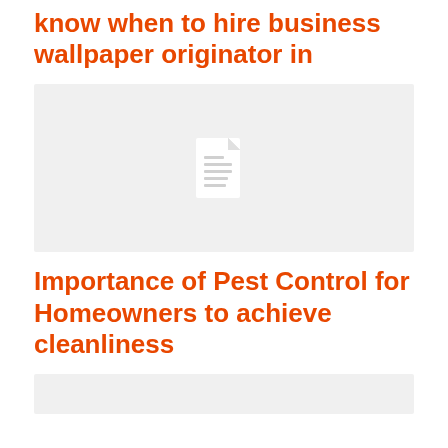know when to hire business wallpaper originator in
[Figure (illustration): Gray placeholder box with a white document/file icon in the center]
Importance of Pest Control for Homeowners to achieve cleanliness
[Figure (illustration): Gray placeholder box, partially visible at bottom of page]